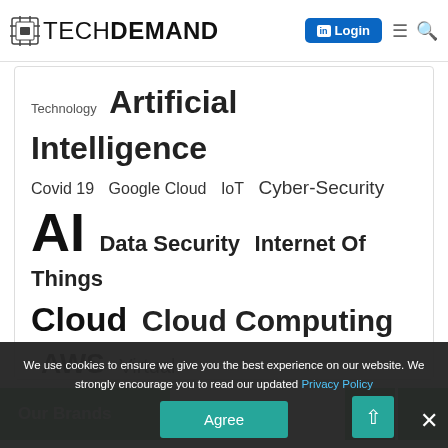TECH DEMAND | Login
[Figure (infographic): Tag cloud / word cloud showing technology topics in varying font sizes: Technology, Artificial Intelligence, Covid 19, Google Cloud, IoT, Cyber-Security, AI, Data Security, Internet Of Things, Cloud, Cloud Computing, AWS, Virtual Reality, Machine Learning, Blockchain, Digital Transformation, Cybersecurity]
Our Brands
We use cookies to ensure we give you the best experience on our website. We strongly encourage you to read our updated Privacy Policy
Agree